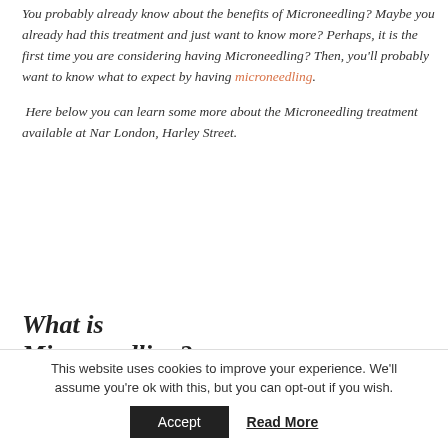You probably already know about the benefits of Microneedling? Maybe you already had this treatment and just want to know more? Perhaps, it is the first time you are considering having Microneedling? Then, you'll probably want to know what to expect by having microneedling.

Here below you can learn some more about the Microneedling treatment available at Nar London, Harley Street.
What is Microneedling?
This website uses cookies to improve your experience. We'll assume you're ok with this, but you can opt-out if you wish.